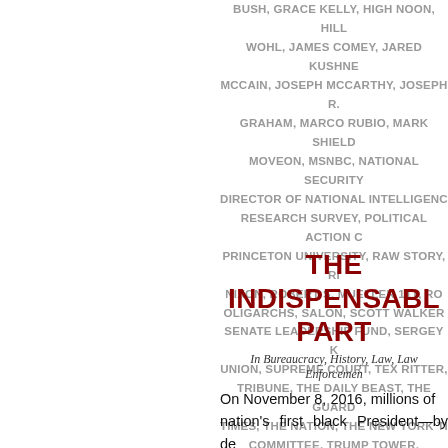BUSH, GRACE KELLY, HIGH NOON, HILL WOHL, JAMES COMEY, JARED KUSHNE MCCAIN, JOSEPH MCCARTHY, JOSEPH R. GRAHAM, MARCO RUBIO, MARK SHIELD MOVEON, MSNBC, NATIONAL SECURITY DIRECTOR OF NATIONAL INTELLIGENC RESEARCH SURVEY, POLITICAL ACTION C PRINCETON UNIVERSITY, RAW STORY, RI NIXON, ROBERT S. MUELLER 111, RO OLIGARCHS, SALON, SCOTT WALKER SENATE LEADERSHIP FUND, SERGEY K UNION, SUPREME COURT, TEX RITTER, TRIBUNE, THE DAILY BEAST, THE GUARD TIMES, THE NATION, THE NEW YORK TI COMMITTEE, TRUMP TOWER, TWITTER, U. OF JUSTICE, UNITED STATES DE REPRESENTATIVES, UNITED STATES M VIRGINIA LAW SCHOOL, UPI, USA TODAY,
THE INDISPENSABL PART
In Bureaucracy, History, Law, Law Enforcemen
On November 8, 2016, millions of nation's first black President—by de would-be dictator into the White Hous